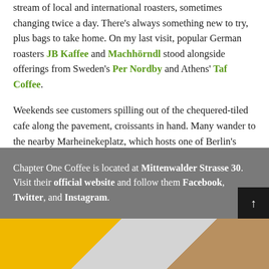stream of local and international roasters, sometimes changing twice a day. There's always something new to try, plus bags to take home. On my last visit, popular German roasters JB Kaffee and Machhörndl stood alongside offerings from Sweden's Per Nordby and Athens' Taf Coffee.
Weekends see customers spilling out of the chequered-tiled cafe along the pavement, croissants in hand. Many wander to the nearby Marheinekeplatz, which hosts one of Berlin's many charismatic flea markets.
Chapter One Coffee is located at Mittenwalder Strasse 30. Visit their official website and follow them Facebook, Twitter, and Instagram.
[Figure (photo): Bottom strip showing interior of a cafe with yellow wall, white equipment, and burlap sacks]